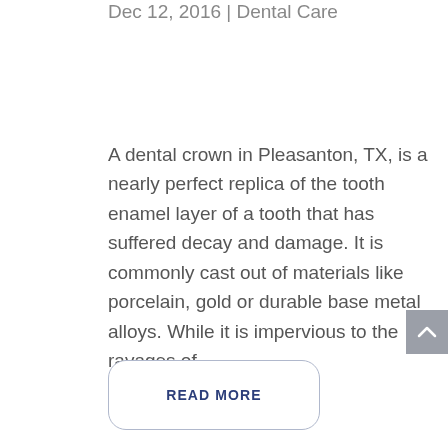Dec 12, 2016 | Dental Care
A dental crown in Pleasanton, TX, is a nearly perfect replica of the tooth enamel layer of a tooth that has suffered decay and damage. It is commonly cast out of materials like porcelain, gold or durable base metal alloys. While it is impervious to the ravages of...
READ MORE